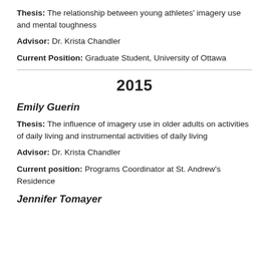Thesis: The relationship between young athletes' imagery use and mental toughness
Advisor: Dr. Krista Chandler
Current Position: Graduate Student, University of Ottawa
2015
Emily Guerin
Thesis: The influence of imagery use in older adults on activities of daily living and instrumental activities of daily living
Advisor: Dr. Krista Chandler
Current position: Programs Coordinator at St. Andrew's Residence
Jennifer Tomayer